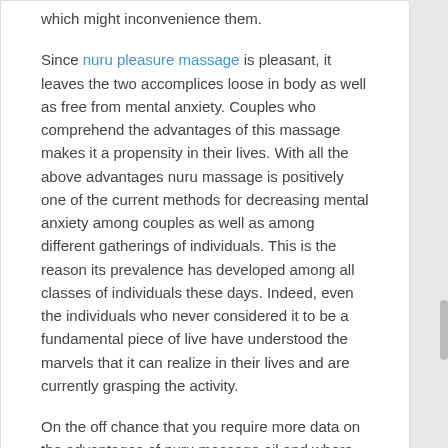which might inconvenience them.
Since nuru pleasure massage is pleasant, it leaves the two accomplices loose in body as well as free from mental anxiety. Couples who comprehend the advantages of this massage makes it a propensity in their lives. With all the above advantages nuru massage is positively one of the current methods for decreasing mental anxiety among couples as well as among different gatherings of individuals. This is the reason its prevalence has developed among all classes of individuals these days. Indeed, even the individuals who never considered it to be a fundamental piece of live have understood the marvels that it can realize in their lives and are currently grasping the activity.
On the off chance that you require more data on the advantages of nuru massage oil and where to buy fantastic items for massage check this websites nurunorix and nuru4u.
Read More